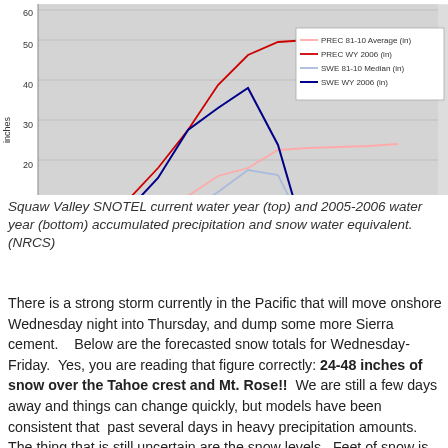[Figure (line-chart): Squaw Valley SNOTEL]
Squaw Valley SNOTEL current water year (top) and 2005-2006 water year (bottom) accumulated precipitation and snow water equivalent. (NRCS)
There is a strong storm currently in the Pacific that will move onshore Wednesday night into Thursday, and dump some more Sierra cement.    Below are the forecasted snow totals for Wednesday-Friday.  Yes, you are reading that figure correctly: 24-48 inches of snow over the Tahoe crest and Mt. Rose!!  We are still a few days away and things can change quickly, but models have been consistent that  past several days in heavy precipitation amounts.  The thing that is still uncertain are the snow levels.  Feet of snow is looking very likely above 8,000 ft., but between 6,000 and 8,000 ft.